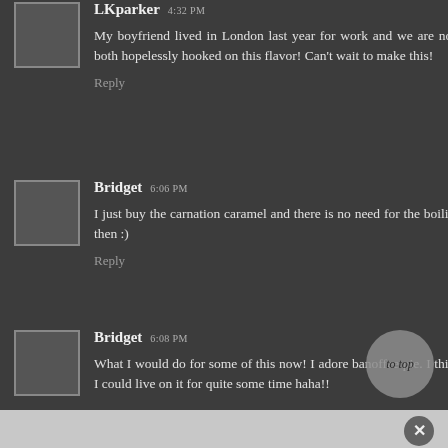LKparker 4:32 PM — My boyfriend lived in London last year for work and we are now both hopelessly hooked on this flavor! Can't wait to make this! Reply
Bridget 6:06 PM — I just buy the carnation caramel and there is no need for the boiling then :) Reply
Bridget 6:08 PM — What I would do for some of this now! I adore banoffee pie. I think I could live on it for quite some time haha!!